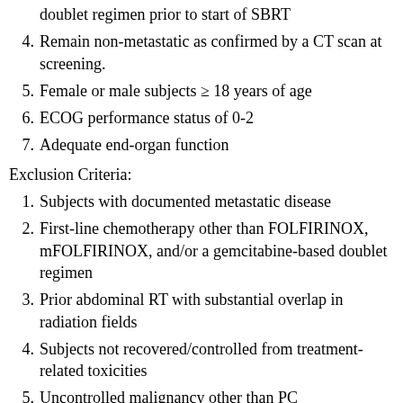doublet regimen prior to start of SBRT
4. Remain non-metastatic as confirmed by a CT scan at screening.
5. Female or male subjects ≥ 18 years of age
6. ECOG performance status of 0-2
7. Adequate end-organ function
Exclusion Criteria:
1. Subjects with documented metastatic disease
2. First-line chemotherapy other than FOLFIRINOX, mFOLFIRINOX, and/or a gemcitabine-based doublet regimen
3. Prior abdominal RT with substantial overlap in radiation fields
4. Subjects not recovered/controlled from treatment-related toxicities
5. Uncontrolled malignancy other than PC
6. No controlled hypertension or cardiac disease within 30...